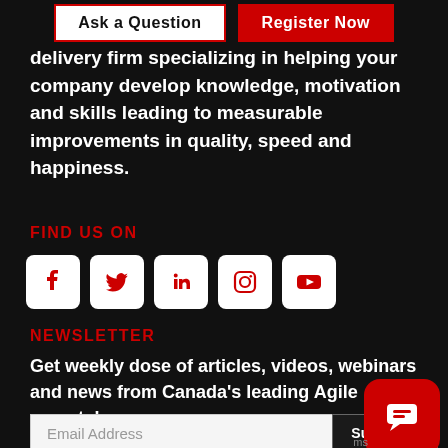[Figure (screenshot): Two buttons: 'Ask a Question' (white with red border) and 'Register Now' (red background, white text)]
delivery firm specializing in helping your company develop knowledge, motivation and skills leading to measurable improvements in quality, speed and happiness.
FIND US ON
[Figure (infographic): Row of 5 social media icons in white rounded square boxes with red icons: Facebook, Twitter, LinkedIn, Instagram, YouTube]
NEWSLETTER
Get weekly dose of articles, videos, webinars and news from Canada's leading Agile experts!
Email Address  Subscribe